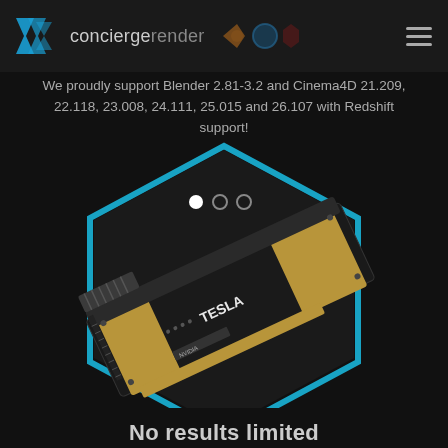conciergerender
We proudly support Blender 2.81-3.2 and Cinema4D 21.209, 22.118, 23.008, 24.111, 25.015 and 26.107 with Redshift support!
[Figure (photo): NVIDIA Tesla GPU card (black with gold heat sink fins) displayed diagonally over a dark background with a cyan hexagonal outline frame and three pagination dots above]
No results limited